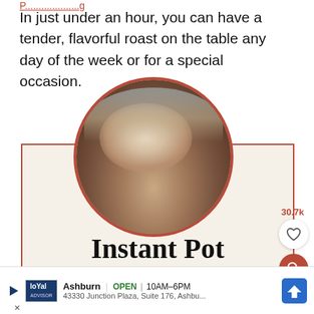In just under an hour, you can have a tender, flavorful roast on the table any day of the week or for a special occasion.
[Figure (photo): Circular photo of a sliced pork roast, close-up showing tender white meat with herbs, surrounded by a dark red/brown border circle. Below the image is a cream-colored recipe card with bold serif text reading 'Instant Pot' (and more text cut off at bottom).]
30.7k
Ashburn  OPEN  10AM–6PM  43330 Junction Plaza, Suite 176, Ashbu...